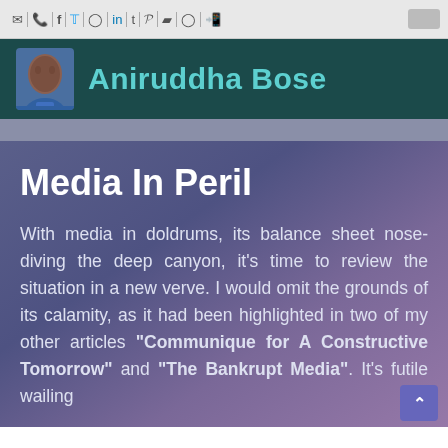✉ | ☎ | f | 🐦 | 🔘 | in | t | 𝓟 | 📋 | 🌐 | 💬
[Figure (logo): Aniruddha Bose website header with avatar photo and teal site name on dark teal background]
Media In Peril
With media in doldrums, its balance sheet nose-diving the deep canyon, it's time to review the situation in a new verve. I would omit the grounds of its calamity, as it had been highlighted in two of my other articles "Communique for A Constructive Tomorrow" and "The Bankrupt Media". It's futile wailing